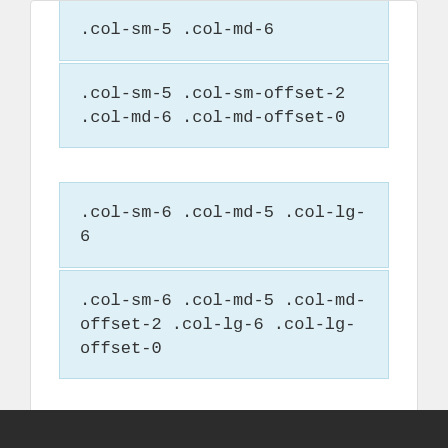.col-sm-5 .col-md-6
.col-sm-5 .col-sm-offset-2 .col-md-6 .col-md-offset-0
.col-sm-6 .col-md-5 .col-lg-6
.col-sm-6 .col-md-5 .col-md-offset-2 .col-lg-6 .col-lg-offset-0